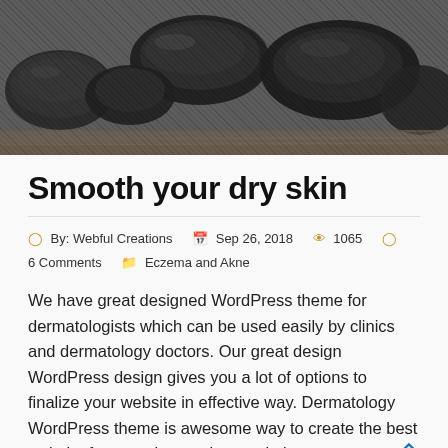[Figure (photo): Close-up photo of dark charcoal pieces on a wooden surface, grayscale tones]
Smooth your dry skin
By: Webful Creations   Sep 26, 2018   1065   6 Comments   Eczema and Akne
We have great designed WordPress theme for dermatologists which can be used easily by clinics and dermatology doctors. Our great design WordPress design gives you a lot of options to finalize your website in effective way. Dermatology WordPress theme is awesome way to create the best website for your dermatology website.